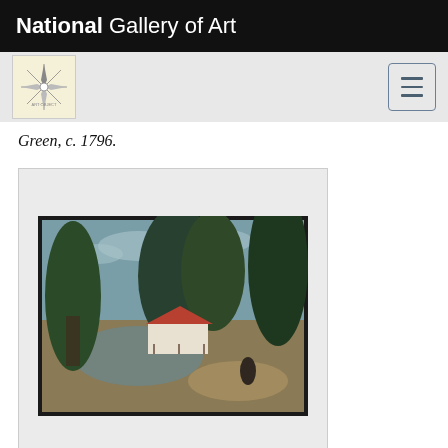National Gallery of Art
[Figure (logo): Art object logo icon with compass/star design on cream background]
Green, c. 1796.
[Figure (photo): Painting depicting a rural landscape with trees, a white house with red roof, water, and a path. Dark frame.]
1800
[Figure (photo): Partially visible artwork card showing the top edge of a painting with a warm golden/brown tone against cream matting.]